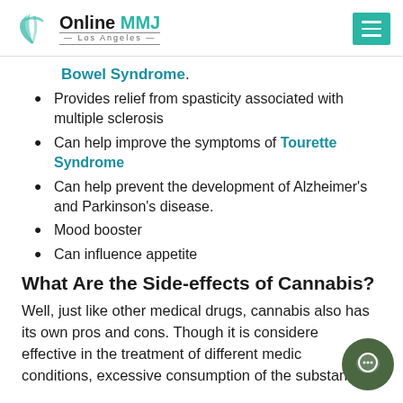Online MMJ Los Angeles
Bowel Syndrome.
Provides relief from spasticity associated with multiple sclerosis
Can help improve the symptoms of Tourette Syndrome
Can help prevent the development of Alzheimer's and Parkinson's disease.
Mood booster
Can influence appetite
What Are the Side-effects of Cannabis?
Well, just like other medical drugs, cannabis also has its own pros and cons. Though it is considered effective in the treatment of different medical conditions, excessive consumption of the substance